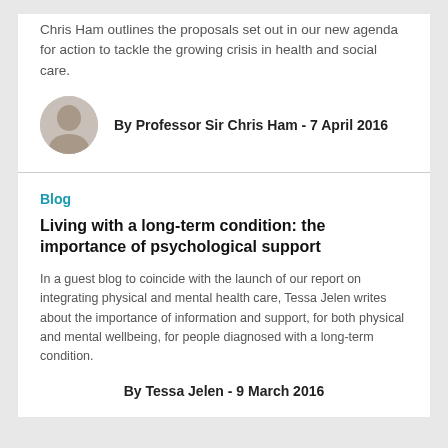Chris Ham outlines the proposals set out in our new agenda for action to tackle the growing crisis in health and social care.
By Professor Sir Chris Ham - 7 April 2016
Blog
Living with a long-term condition: the importance of psychological support
In a guest blog to coincide with the launch of our report on integrating physical and mental health care, Tessa Jelen writes about the importance of information and support, for both physical and mental wellbeing, for people diagnosed with a long-term condition.
By Tessa Jelen - 9 March 2016